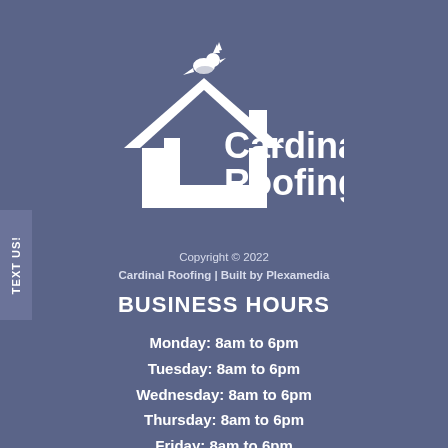[Figure (logo): Cardinal Roofing logo: white house/roofline shape with a cardinal bird on top, and text 'Cardinal Roofing' in white]
Copyright © 2022
Cardinal Roofing | Built by Plexamedia
BUSINESS HOURS
Monday: 8am to 6pm
Tuesday: 8am to 6pm
Wednesday: 8am to 6pm
Thursday: 8am to 6pm
Friday: 8am to 6pm
Saturday: On Call